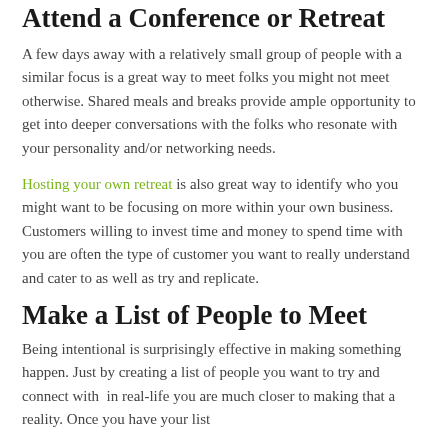Attend a Conference or Retreat
A few days away with a relatively small group of people with a similar focus is a great way to meet folks you might not meet otherwise. Shared meals and breaks provide ample opportunity to get into deeper conversations with the folks who resonate with your personality and/or networking needs.
Hosting your own retreat is also great way to identify who you might want to be focusing on more within your own business. Customers willing to invest time and money to spend time with you are often the type of customer you want to really understand and cater to as well as try and replicate.
Make a List of People to Meet
Being intentional is surprisingly effective in making something happen. Just by creating a list of people you want to try and connect with  in real-life you are much closer to making that a reality. Once you have your list...